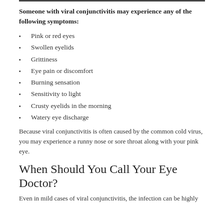Someone with viral conjunctivitis may experience any of the following symptoms:
Pink or red eyes
Swollen eyelids
Grittiness
Eye pain or discomfort
Burning sensation
Sensitivity to light
Crusty eyelids in the morning
Watery eye discharge
Because viral conjunctivitis is often caused by the common cold virus, you may experience a runny nose or sore throat along with your pink eye.
When Should You Call Your Eye Doctor?
Even in mild cases of viral conjunctivitis, the infection can be highly